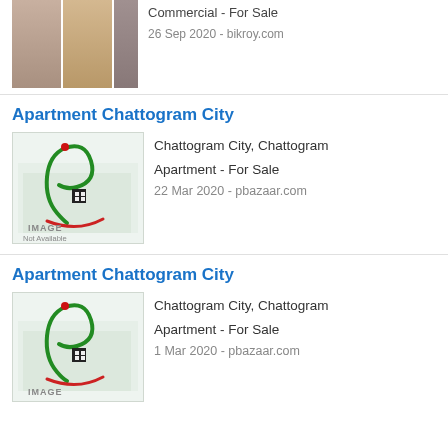[Figure (photo): Partial real estate listing image at top, cropped, showing thumbnail images of a commercial property]
Commercial - For Sale
26 Sep 2020 - bikroy.com
Apartment Chattogram City
[Figure (logo): pbazaar.com image placeholder logo with green crescent and P shape, red dot, black square building icon, 'IMAGE Not Available' text]
Chattogram City, Chattogram
Apartment - For Sale
22 Mar 2020 - pbazaar.com
Apartment Chattogram City
[Figure (logo): pbazaar.com image placeholder logo with green crescent and P shape, red dot, black square building icon, 'IMAGE' text visible]
Chattogram City, Chattogram
Apartment - For Sale
1 Mar 2020 - pbazaar.com